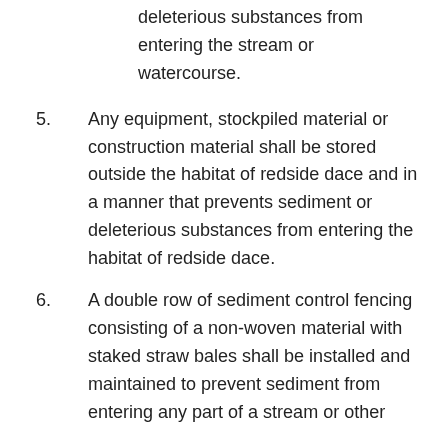deleterious substances from entering the stream or watercourse.
5. Any equipment, stockpiled material or construction material shall be stored outside the habitat of redside dace and in a manner that prevents sediment or deleterious substances from entering the habitat of redside dace.
6. A double row of sediment control fencing consisting of a non-woven material with staked straw bales shall be installed and maintained to prevent sediment from entering any part of a stream or other